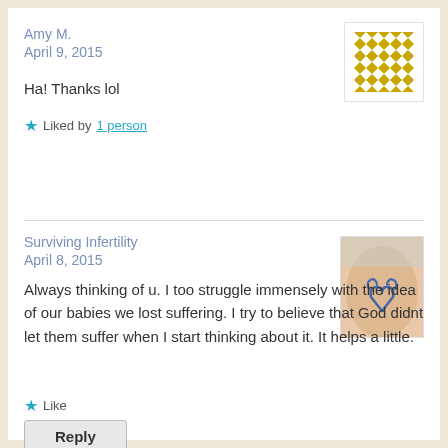Amy M.
April 9, 2015
[Figure (illustration): Gold/yellow geometric quilt-pattern avatar icon]
Ha! Thanks lol
★ Liked by 1 person
Surviving Infertility
April 8, 2015
[Figure (photo): Photo of a wrist with a tattoo of a heart made from a ribbon]
Always thinking of u. I too struggle immensely with the idea of our babies we lost suffering. I try to believe that God didnt let them suffer when I start thinking about it. It helps a little.
★ Like
Reply